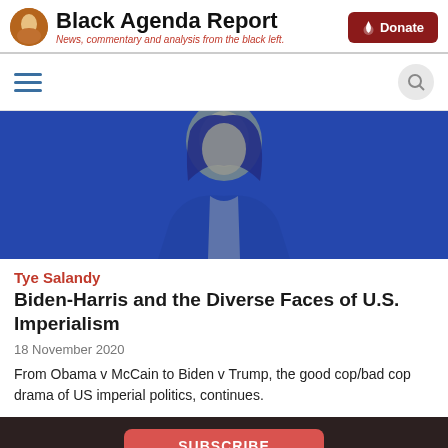Black Agenda Report — News, commentary and analysis from the black left.
[Figure (illustration): Navigation bar with hamburger menu icon on left and search icon on right]
[Figure (photo): Blue-tinted portrait photo of a woman against a blue background]
Tye Salandy
Biden-Harris and the Diverse Faces of U.S. Imperialism
18 November 2020
From Obama v McCain to Biden v Trump, the good cop/bad cop drama of US imperial politics, continues.
SUBSCRIBE | CONNECT WITH US | ABOUT US | CONTACT US